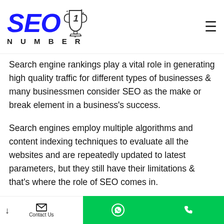SEO NUMBER 1 logo with hamburger menu
Search engine rankings play a vital role in generating high quality traffic for different types of businesses & many businessmen consider SEO as the make or break element in a business's success.
Search engines employ multiple algorithms and content indexing techniques to evaluate all the websites and are repeatedly updated to latest parameters, but they still have their limitations & that's where the role of SEO comes in.
SEO Experts aim towards attracting these search engines algorithms to favorably boost their websites ranking, therefore attracting multitudes of, yet targeted online visitors leading to increased traffic on website & ultimately
Contact Us